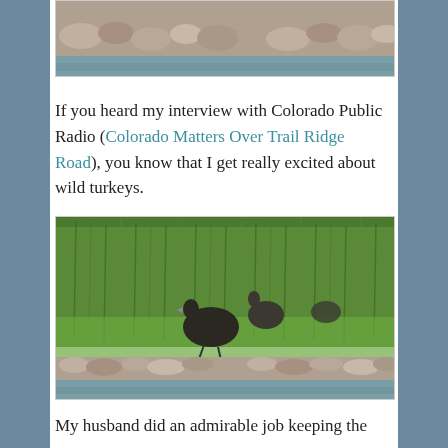[Figure (photo): Partial view of rocky riverbank with water, top portion cropped]
If you heard my interview with Colorado Public Radio (Colorado Matters Over Trail Ridge Road), you know that I get really excited about wild turkeys.
[Figure (photo): Wild turkeys standing in tall green grass along a rocky riverbank with water in the foreground]
My husband did an admirable job keeping the canoe